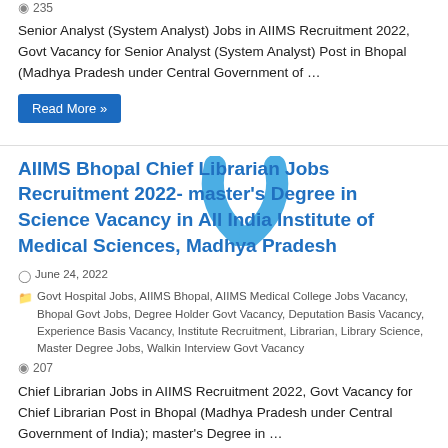235
Senior Analyst (System Analyst) Jobs in AIIMS Recruitment 2022, Govt Vacancy for Senior Analyst (System Analyst) Post in Bhopal (Madhya Pradesh under Central Government of …
Read More »
AIIMS Bhopal Chief Librarian Jobs Recruitment 2022- master's Degree in Science Vacancy in All India Institute of Medical Sciences, Madhya Pradesh
June 24, 2022
Govt Hospital Jobs, AIIMS Bhopal, AIIMS Medical College Jobs Vacancy, Bhopal Govt Jobs, Degree Holder Govt Vacancy, Deputation Basis Vacancy, Experience Basis Vacancy, Institute Recruitment, Librarian, Library Science, Master Degree Jobs, Walkin Interview Govt Vacancy
207
Chief Librarian Jobs in AIIMS Recruitment 2022, Govt Vacancy for Chief Librarian Post in Bhopal (Madhya Pradesh under Central Government of India); master's Degree in …